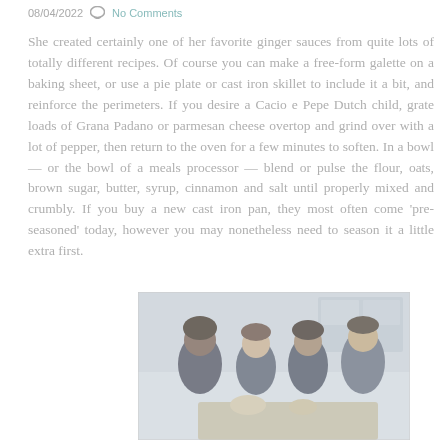08/04/2022   No Comments
She created certainly one of her favorite ginger sauces from quite lots of totally different recipes. Of course you can make a free-form galette on a baking sheet, or use a pie plate or cast iron skillet to include it a bit, and reinforce the perimeters. If you desire a Cacio e Pepe Dutch child, grate loads of Grana Padano or parmesan cheese overtop and grind over with a lot of pepper, then return to the oven for a few minutes to soften. In a bowl — or the bowl of a meals processor — blend or pulse the flour, oats, brown sugar, butter, syrup, cinnamon and salt until properly mixed and crumbly. If you buy a new cast iron pan, they most often come 'pre-seasoned' today, however you may nonetheless need to season it a little extra first.
[Figure (photo): Group of people in a kitchen or cooking setting, appears to show several individuals gathered around a table with food items.]